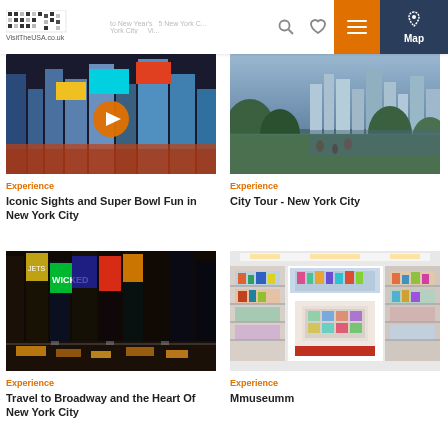VisitTheUSA.co.uk
[Figure (photo): Times Square New York City crowded street with billboards and orange play button overlay]
Experience
Iconic Sights and Super Bowl Fun in New York City
[Figure (photo): New York City skyline seen from a park across the river at dusk]
Experience
City Tour - New York City
[Figure (photo): Broadway Times Square at night with bright neon signs and traffic]
Experience
Travel to Broadway and the Heart Of New York City
[Figure (photo): Interior of Mmuseumm showing shelves with colorful items and open atrium]
Experience
Mmuseumm